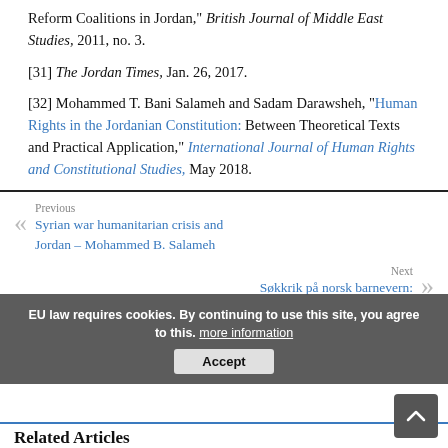Reform Coalitions in Jordan," British Journal of Middle East Studies, 2011, no. 3.
[31] The Jordan Times, Jan. 26, 2017.
[32] Mohammed T. Bani Salameh and Sadam Darawsheh, "Human Rights in the Jordanian Constitution: Between Theoretical Texts and Practical Application," International Journal of Human Rights and Constitutional Studies, May 2018.
Previous: Syrian war humanitarian crisis and Jordan – Mohammed B. Salameh
Next: Søkkrik på norsk barnevern:
EU law requires cookies. By continuing to use this site, you agree to this. more information
Related Articles